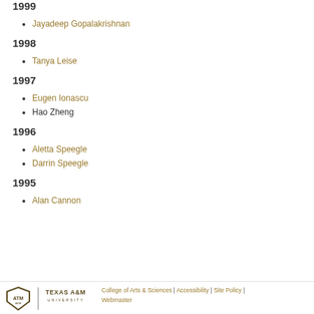1999
Jayadeep Gopalakrishnan
1998
Tanya Leise
1997
Eugen Ionascu
Hao Zheng
1996
Aletta Speegle
Darrin Speegle
1995
Alan Cannon
Texas A&M University | College of Arts & Sciences | Accessibility | Site Policy | Webmaster